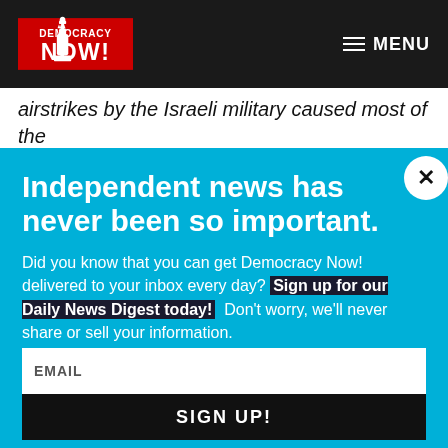Democracy Now! — MENU
airstrikes by the Israeli military caused most of the over 900 civilian deaths in Lebanon. Human Rights
Independent news has never been so important.
Did you know that you can get Democracy Now! delivered to your inbox every day? Sign up for our Daily News Digest today! Don't worry, we'll never share or sell your information.
EMAIL
SIGN UP!